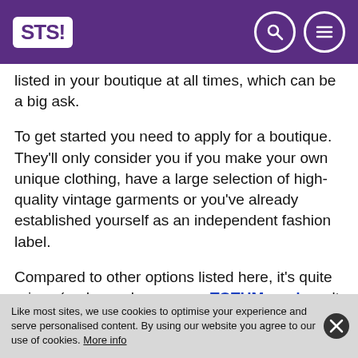STS!
listed in your boutique at all times, which can be a big ask.
To get started you need to apply for a boutique. They'll only consider you if you make your own unique clothing, have a large selection of high-quality vintage garments or you've already established yourself as an independent fashion label.
Compared to other options listed here, it's quite pricey (and, as a buyer, your TOTUM card won't work in the Marketplace either). But if you're
Like most sites, we use cookies to optimise your experience and serve personalised content. By using our website you agree to our use of cookies. More info